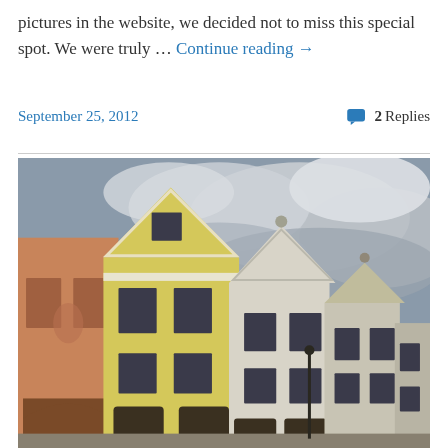pictures in the website, we decided not to miss this special spot. We were truly … Continue reading →
September 25, 2012   💬 2 Replies
[Figure (photo): Photo of historic European town square buildings with ornate baroque gabled facades in yellow and orange/terracotta colors, with dark windows and arched ground-floor passages, against a dramatic cloudy grey sky.]